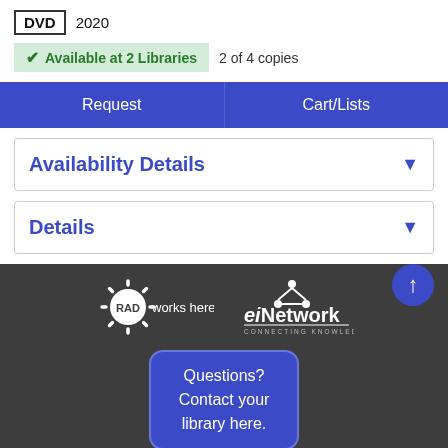DVD 2020
✓ Available at 2 Libraries  2 of 4 copies
Request
Cart/Lists
Availability Details
Details
[Figure (logo): RAD works here. sunburst logo in white on dark footer]
[Figure (logo): eiNetwork Connecting Knowledge logo in white on dark footer]
Questions? Contact your library here.
Library Catalog is a service of eiNetwork, a collaboration of the Allegheny County Library Association and Carnegie Library of